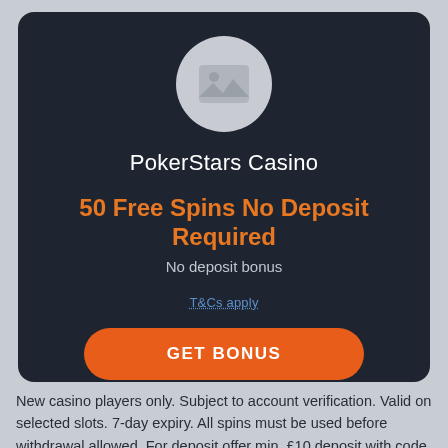[Figure (logo): Circular placeholder image icon with mountain/landscape symbol on grey background]
PokerStars Casino
50 Free Spins No Deposit Required
No deposit bonus
T&Cs apply
GET BONUS
New casino players only. Subject to account verification. Valid on selected slots. 7-day expiry. All spins must be used before withdrawal allowed. For deposit offer min. £10 deposit with code 'CASINO100'.